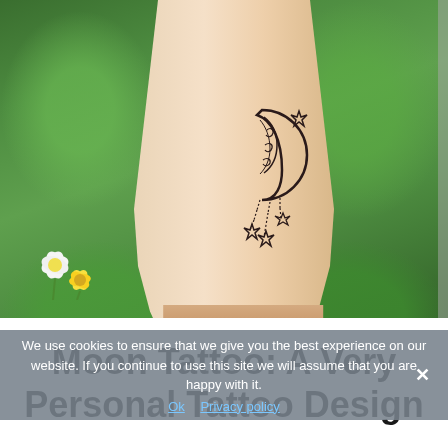[Figure (photo): A person's lower leg and ankle viewed from behind, with a crescent moon tattoo on the calf. The moon is decorated with intricate patterns and has dangling star charms hanging from it. The background shows green grass and some white/yellow flowers on the left side.]
We use cookies to ensure that we give you the best experience on our website. If you continue to use this site we will assume that you are happy with it.
Ok  Privacy policy
Moon Tattoo: A Very Personal Tattoo Design